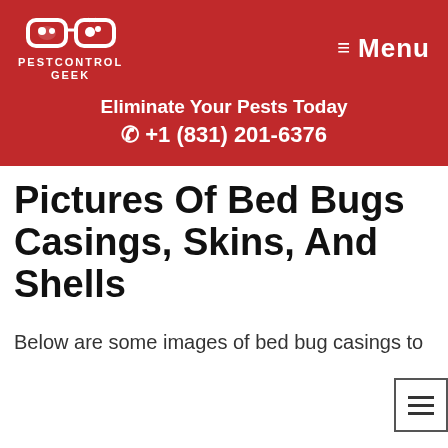[Figure (logo): Pest Control Geek logo with glasses icon and text]
Menu
Eliminate Your Pests Today
+1 (831) 201-6376
Pictures Of Bed Bugs Casings, Skins, And Shells
Below are some images of bed bug casings to